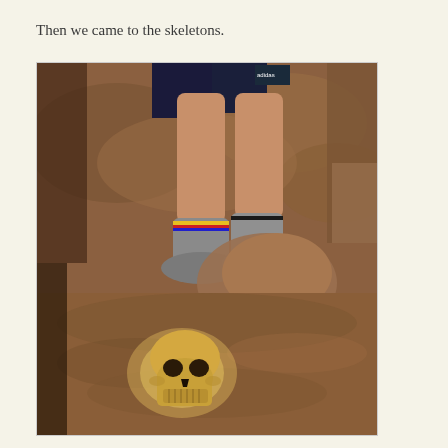Then we came to the skeletons.
[Figure (photo): A person standing in grey socks with colorful ankle decorations on a rocky sandy cave floor. In the foreground, an illuminated human skull is embedded in or resting on the sandy rock surface.]